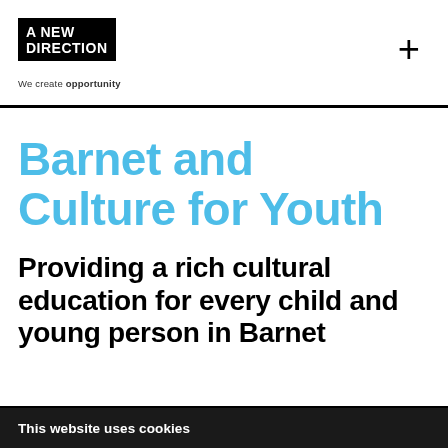[Figure (logo): A New Direction logo - black rectangle with white bold text 'A NEW DIRECTION' and tagline 'We create opportunity' below]
Barnet and Culture for Youth
Providing a rich cultural education for every child and young person in Barnet
This website uses cookies